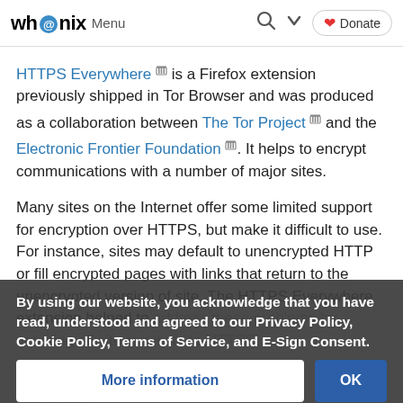Whonix Menu | Search | Donate
HTTPS Everywhere [archive] is a Firefox extension previously shipped in Tor Browser and was produced as a collaboration between The Tor Project [archive] and the Electronic Frontier Foundation [archive]. It helps to encrypt communications with a number of major sites.
Many sites on the Internet offer some limited support for encryption over HTTPS, but make it difficult to use. For instance, sites may default to unencrypted HTTP or fill encrypted pages with links that return to the unencrypted version of site. The HTTPS Everywhere extension helped to address these problems by rewriting all site requests to HTTPS.
By using our website, you acknowledge that you have read, understood and agreed to our Privacy Policy, Cookie Policy, Terms of Service, and E-Sign Consent. ... out HTTPS Everywhere here:
More information  OK